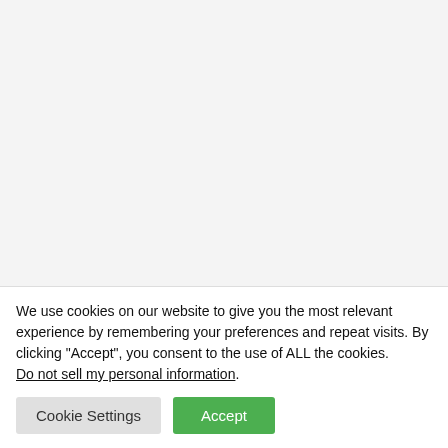[Figure (other): Gray placeholder area representing a food photo or product image]
Nutrition
Calories: 396kcal | Carbohydrates: 27g | Protein: 10g | Fat: 29g | Saturated Fat: 17g | Cholesterol: 41mg | Sodium: 58mg | Potassium: 338mg | Fiber: 4g | Sugar: 7g | Vitamin A: 100% | Vitamin C: 1% | Calcium:
We use cookies on our website to give you the most relevant experience by remembering your preferences and repeat visits. By clicking “Accept”, you consent to the use of ALL the cookies. Do not sell my personal information.